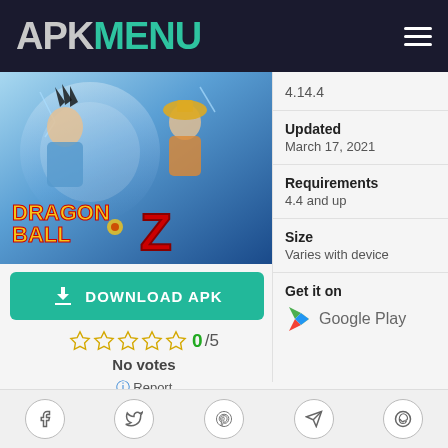APK MENU
[Figure (illustration): Dragon Ball Z game artwork banner with characters and logo]
DOWNLOAD APK
0/5
No votes
Report
4.14.4
Updated
March 17, 2021
Requirements
4.4 and up
Size
Varies with device
Get it on
Google Play
[Figure (illustration): YouTube Subscribe button with bell icon]
Social share icons: Facebook, Twitter, Pinterest, Telegram, WhatsApp